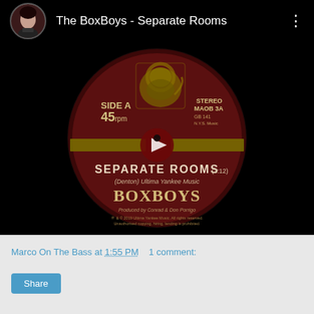[Figure (screenshot): YouTube-style video player showing a vinyl record label for 'The BoxBoys - Separate Rooms'. The record label is dark red/maroon with a lion crest, text reading SIDE A 45 rpm, STEREO MAOB 3A, SEPARATE ROOMS (3:12), (Denton) Ultima Yankee Music, BOXBOYS. A play button triangle is visible in the center. The video header shows a circular avatar of a woman and the title 'The BoxBoys - Separate Rooms' with a three-dot menu icon.]
Marco On The Bass at 1:55 PM   1 comment:
Share